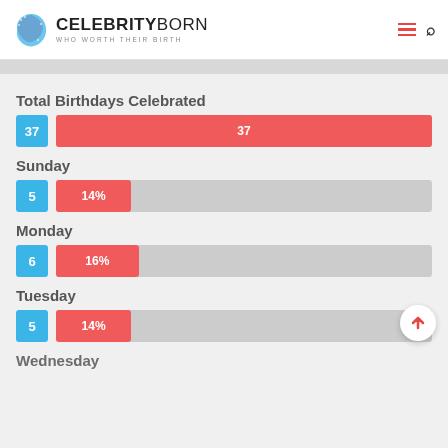CELEBRITYBORN — WHO WORTH THEIR BIRTH
Total Birthdays Celebrated
[Figure (bar-chart): Total Birthdays Celebrated]
Sunday
[Figure (bar-chart): Sunday]
Monday
[Figure (bar-chart): Monday]
Tuesday
[Figure (bar-chart): Tuesday]
Wednesday